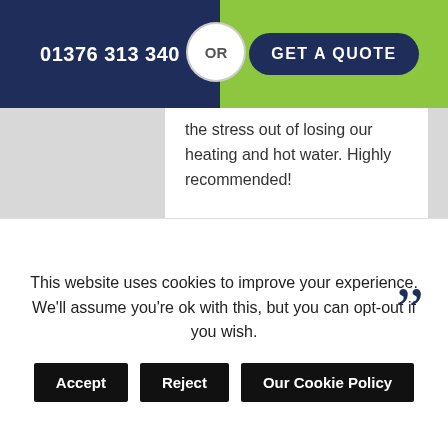01376 313 340 OR GET A QUOTE
the stress out of losing our heating and hot water. Highly recommended!
[Figure (other): Trustpilot 5-star rating row with green star icons]
Mr Wells
2 weeks ago
This website uses cookies to improve your experience. We'll assume you're ok with this, but you can opt-out if you wish.